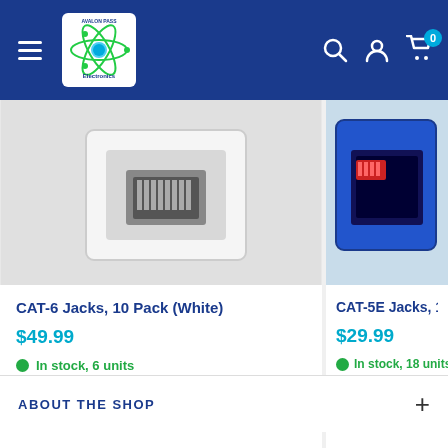Avalon Pass Electronics — navigation header with logo, hamburger menu, search, account, and cart icons
[Figure (photo): White CAT-6 keystone jack, 10-pack product image on white background]
CAT-6 Jacks, 10 Pack (White)
$49.99
In stock, 6 units
[Figure (photo): Blue CAT-5E keystone jack product image on white background]
CAT-5E Jacks, 10 P
$29.99
In stock, 18 units
ABOUT THE SHOP